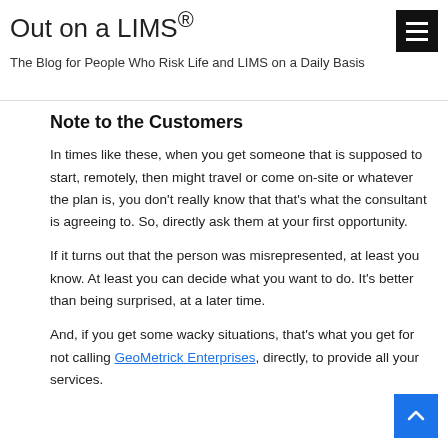Out on a LIMS®
The Blog for People Who Risk Life and LIMS on a Daily Basis
Note to the Customers
In times like these, when you get someone that is supposed to start, remotely, then might travel or come on-site or whatever the plan is, you don't really know that that's what the consultant is agreeing to. So, directly ask them at your first opportunity.
If it turns out that the person was misrepresented, at least you know. At least you can decide what you want to do. It's better than being surprised, at a later time.
And, if you get some wacky situations, that's what you get for not calling GeoMetrick Enterprises, directly, to provide all your services.